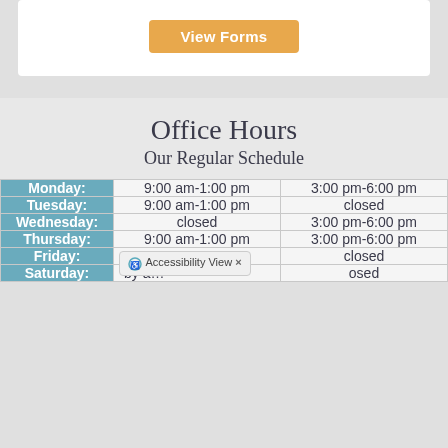[Figure (other): Orange 'View Forms' button on white card background]
Office Hours
Our Regular Schedule
| Day | Morning | Afternoon |
| --- | --- | --- |
| Monday: | 9:00 am-1:00 pm | 3:00 pm-6:00 pm |
| Tuesday: | 9:00 am-1:00 pm | closed |
| Wednesday: | closed | 3:00 pm-6:00 pm |
| Thursday: | 9:00 am-1:00 pm | 3:00 pm-6:00 pm |
| Friday: | 9:00 am-1:00 pm | closed |
| Saturday: | by a… | closed |